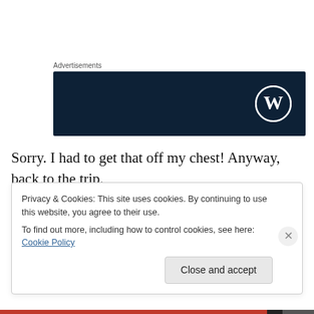Advertisements
[Figure (logo): WordPress advertisement banner — dark navy background with WordPress 'W' logo circle on the right]
Sorry. I had to get that off my chest! Anyway, back to the trip.
The Great Ocean Road is one of Victoria's premiere tourist attractions, and this was always going to be one of the
Privacy & Cookies: This site uses cookies. By continuing to use this website, you agree to their use.
To find out more, including how to control cookies, see here: Cookie Policy
Close and accept